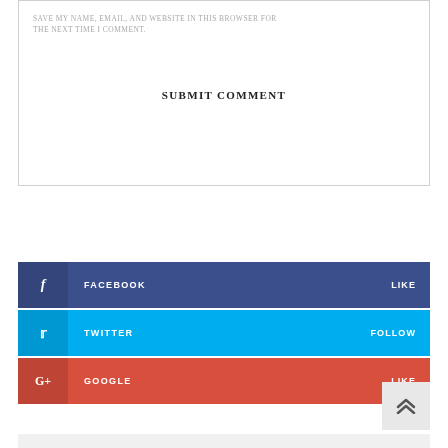SAVE MY NAME, EMAIL, AND WEBSITE IN THIS BROWSER FOR THE NEXT TIME I COMMENT.
SUBMIT COMMENT
FACEBOOK LIKE
TWITTER FOLLOW
GOOGLE LIKE